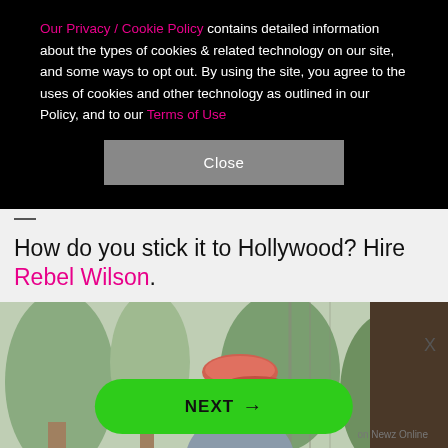Our Privacy / Cookie Policy contains detailed information about the types of cookies & related technology on our site, and some ways to opt out. By using the site, you agree to the uses of cookies and other technology as outlined in our Policy, and to our Terms of Use
Close
How do you stick it to Hollywood? Hire Rebel Wilson.
[Figure (photo): A man wearing a pink/red baseball cap and grey sweatshirt, carrying dried plants or branches, standing outdoors near trees and plants.]
NEXT →
on Newz Online